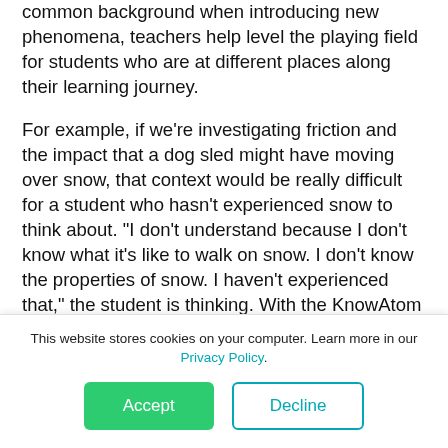common background when introducing new phenomena, teachers help level the playing field for students who are at different places along their learning journey.

For example, if we're investigating friction and the impact that a dog sled might have moving over snow, that context would be really difficult for a student who hasn't experienced snow to think about. "I don't understand because I don't know what it's like to walk on snow. I don't know the properties of snow. I haven't experienced that," the student is thinking. With the KnowAtom
This website stores cookies on your computer. Learn more in our Privacy Policy.
Accept
Decline